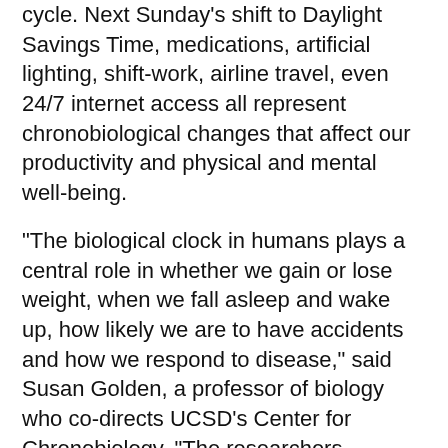cycle. Next Sunday's shift to Daylight Savings Time, medications, artificial lighting, shift-work, airline travel, even 24/7 internet access all represent chronobiological changes that affect our productivity and physical and mental well-being.
"The biological clock in humans plays a central role in whether we gain or lose weight, when we fall asleep and wake up, how likely we are to have accidents and how we respond to disease," said Susan Golden, a professor of biology who co-directs UCSD's Center for Chronobiology. "The researchers involved in the center will investigate the basic mechanisms of the circadian clock as well as the role of human circadian disorders in regulating the sleep-wake cycle, glucose stability and weight control with the long-term goal of developing new molecular treatments for patients suffering from disorders as diverse as insomnia, diabetes and obesity."
[Figure (photo): Partial circular image, appears to be a clock or circular object with blue/white coloring, cropped at bottom of page.]
Golden said that